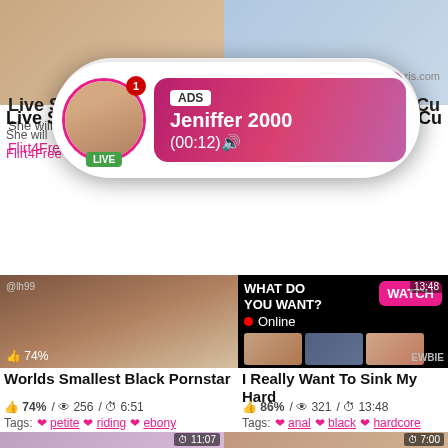[Figure (screenshot): Adult website screenshot with popup notification ad showing 'ADS Jeniffer 2000 (00:12)' with live avatar, video thumbnails of adult content, video titles and tags]
Live S
She will
Flirt4Free
No Cu
ADS
Jeniffer 2000
(00:12)
LIVE
WHAT DO YOU WANT?
WATCH
Online
Cumming, ass fucking, squirt or...
• ADS
EWBIE
13:48
74%
Worlds Smallest Black Pornstar
74% / 256 / 6:51
Tags: petite riding ebony
I Really Want To Sink My Hard
86% / 321 / 13:48
Tags: anal black hardcore
11:07
7:00